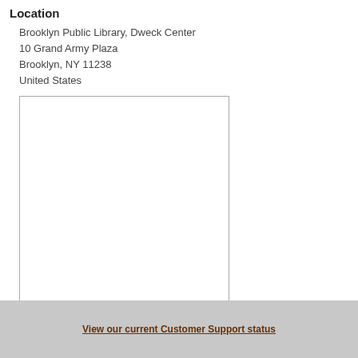Location
Brooklyn Public Library, Dweck Center
10 Grand Army Plaza
Brooklyn, NY 11238
United States
[Figure (map): Blank map area with border, representing a map placeholder for Brooklyn Public Library location]
[Figure (logo): Bing and Google Maps logos side by side]
View our current Customer Support status